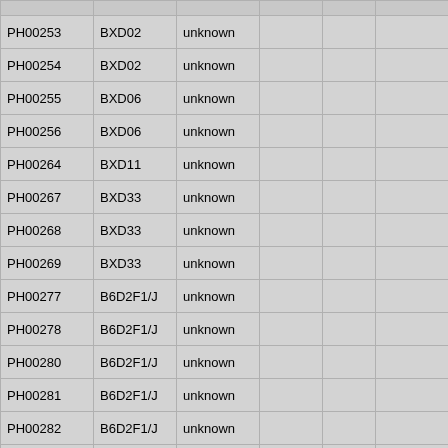| ID | Strain | Origin |  |  |  | Sex | Date |
| --- | --- | --- | --- | --- | --- | --- | --- |
| PH00253 | BXD02 | unknown |  |  |  | male | 00-00- |
| PH00254 | BXD02 | unknown |  |  |  | male | 00-00- |
| PH00255 | BXD06 | unknown |  |  |  | male | 00-00- |
| PH00256 | BXD06 | unknown |  |  |  | male | 00-00- |
| PH00264 | BXD11 | unknown |  |  |  | male | 00-00- |
| PH00267 | BXD33 | unknown |  |  |  | male | 00-00- |
| PH00268 | BXD33 | unknown |  |  |  | male | 00-00- |
| PH00269 | BXD33 | unknown |  |  |  | male | 00-00- |
| PH00277 | B6D2F1/J | unknown |  |  |  | male | 00-00- |
| PH00278 | B6D2F1/J | unknown |  |  |  | male | 00-00- |
| PH00280 | B6D2F1/J | unknown |  |  |  | male | 00-00- |
| PH00281 | B6D2F1/J | unknown |  |  |  | male | 00-00- |
| PH00282 | B6D2F1/J | unknown |  |  |  | male | 00-00- |
| PH00283 | B6D2F1/J | unknown |  |  |  | male | 00-00- |
| PH00284 | B6D2F1/J | unknown |  |  |  | male | 00-00- |
| PH00296 | BXD42 | unknown |  |  |  | male | 00-00- |